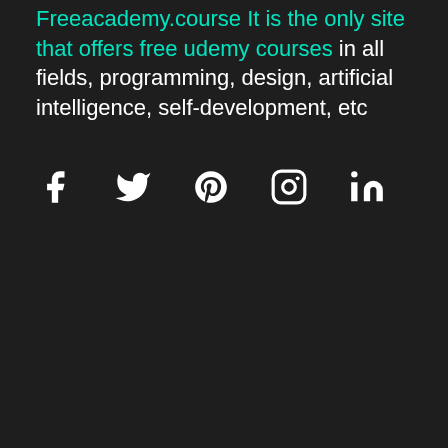Freeacademy.course It is the only site that offers free udemy courses in all fields, programming, design, artificial intelligence, self-development, etc
[Figure (infographic): Social media icons: Facebook, Twitter, Pinterest, Instagram, LinkedIn]